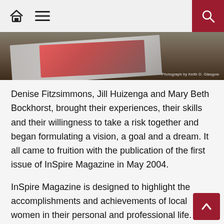Navigation bar with home, menu, and search icons
[Figure (photo): Partial view of a magazine cover on a dark wooden table, photograph credit to Keith D. Glasgow]
Photograph by Keith D. Glasgow
Denise Fitzsimmons, Jill Huizenga and Mary Beth Bockhorst, brought their experiences, their skills and their willingness to take a risk together and began formulating a vision, a goal and a dream. It all came to fruition with the publication of the first issue of InSpire Magazine in May 2004.
InSpire Magazine is designed to highlight the accomplishments and achievements of local women in their personal and professional life. It is a high quality product that empowers women, while providing a new media for businesses to advertise within.
“We really wanted to highlight the many talented and gifted